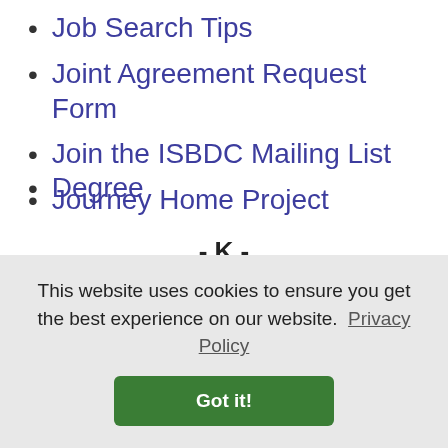Job Search Tips
Joint Agreement Request Form
Join the ISBDC Mailing List
Journey Home Project
- K -
Kids and College
Kids and College Required
Degree
This website uses cookies to ensure you get the best experience on our website. Privacy Policy
Got it!